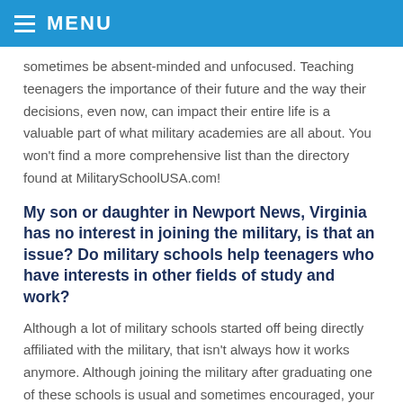MENU
sometimes be absent-minded and unfocused. Teaching teenagers the importance of their future and the way their decisions, even now, can impact their entire life is a valuable part of what military academies are all about. You won't find a more comprehensive list than the directory found at MilitarySchoolUSA.com!
My son or daughter in Newport News, Virginia has no interest in joining the military, is that an issue? Do military schools help teenagers who have interests in other fields of study and work?
Although a lot of military schools started off being directly affiliated with the military, that isn't always how it works anymore. Although joining the military after graduating one of these schools is usual and sometimes encouraged, your son or daughter is definitely not obligated to. For sure, the